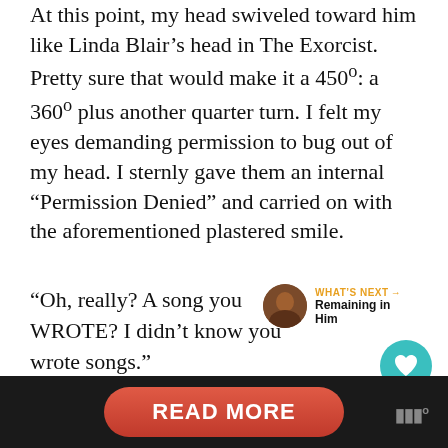At this point, my head swiveled toward him like Linda Blair’s head in The Exorcist. Pretty sure that would make it a 450º: a 360º plus another quarter turn. I felt my eyes demanding permission to bug out of my head. I sternly gave them an internal “Permission Denied” and carried on with the aforementioned plastered smile.
“Oh, really? A song you WROTE? I didn’t know you wrote songs.”
“Well, yeah, I wrote this one.”
“Well, OK. Good.”
WHAT’S NEXT → Remaining in Him
READ MORE